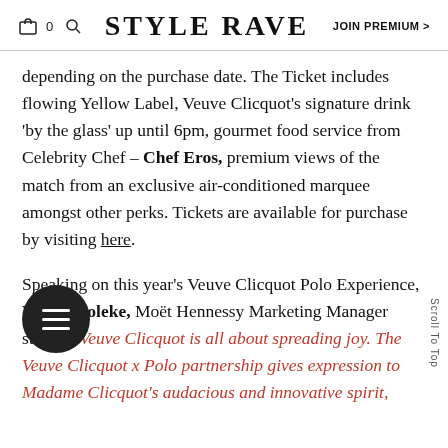STYLE RAVE | JOIN PREMIUM >
depending on the purchase date. The Ticket includes flowing Yellow Label, Veuve Clicquot's signature drink 'by the glass' up until 6pm, gourmet food service from Celebrity Chef – Chef Eros, premium views of the match from an exclusive air-conditioned marquee amongst other perks. Tickets are available for purchase by visiting here.
Speaking on this year's Veuve Clicquot Polo Experience, Wole Awoleke, Moët Hennessy Marketing Manager stated: "Veuve Clicquot is all about spreading joy. The Veuve Clicquot x Polo partnership gives expression to Madame Clicquot's audacious and innovative spirit,"